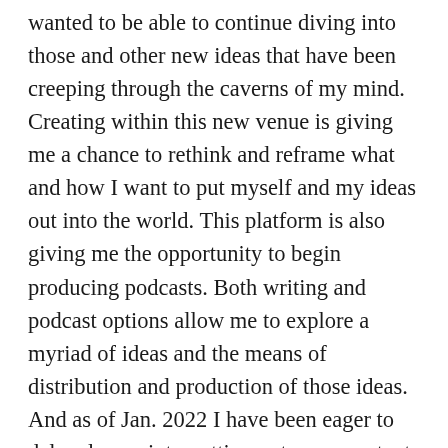wanted to be able to continue diving into those and other new ideas that have been creeping through the caverns of my mind. Creating within this new venue is giving me a chance to rethink and reframe what and how I want to put myself and my ideas out into the world. This platform is also giving me the opportunity to begin producing podcasts. Both writing and podcast options allow me to explore a myriad of ideas and the means of distribution and production of those ideas. And as of Jan. 2022 I have been eager to delve deeper into putting out more content. I am also using my YouTube page for some podcast content and you can find more mass media centric content on my Medium page for OpEd's or other posts.
I will be sharing reflections, discussions, interviews, comments of things I am working on, people I am